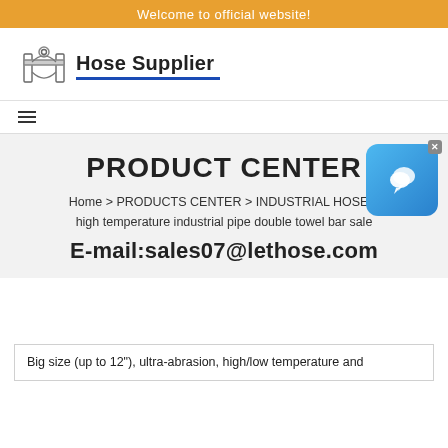Welcome to official website!
[Figure (logo): Hose Supplier logo with mechanical/pipe clip icon and blue underline]
PRODUCT CENTER
Home > PRODUCTS CENTER > INDUSTRIAL HOSE > high temperature industrial pipe double towel bar sale
E-mail:sales07@lethose.com
[Figure (other): Blue chat widget icon with X close button in top right corner]
Big size (up to 12"), ultra-abrasion, high/low temperature and